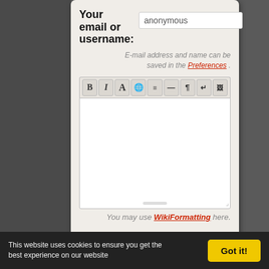Your email or username:
anonymous
E-mail address and name can be saved in the Preferences .
[Figure (screenshot): Text editor toolbar with bold, italic, font, globe, paragraph, horizontal rule, pilcrow, enter, and image buttons]
You may use WikiFormatting here.
This website uses cookies to ensure you get the best experience on our website